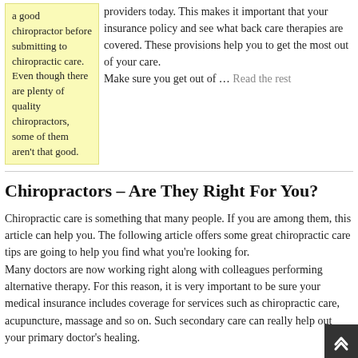a good chiropractor before submitting to chiropractic care. Even though there are plenty of quality chiropractors, some of them aren't that good.
providers today. This makes it important that your insurance policy and see what back care therapies are covered. These provisions help you to get the most out of your care.
Make sure you get out of … Read the rest
Chiropractors – Are They Right For You?
Chiropractic care is something that many people. If you are among them, this article can help you. The following article offers some great chiropractic care tips are going to help you find what you're looking for.
Many doctors are now working right along with colleagues performing alternative therapy. For this reason, it is very important to be sure your medical insurance includes coverage for services such as chiropractic care, acupuncture, massage and so on. Such secondary care can really help out your primary doctor's healing.